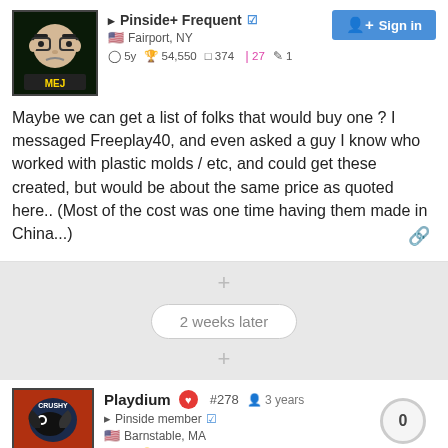Pinside+ Frequent ✓ Fairport, NY 5y 54,550 374 27 1
Maybe we can get a list of folks that would buy one ? I messaged Freeplay40, and even asked a guy I know who worked with plastic molds / etc, and could get these created, but would be about the same price as quoted here.. (Most of the cost was one time having them made in China...)
2 weeks later
Playdium #278 3 years 0 Pinside member ✓ Barnstable, MA 8y 72,550 1,815 1
Need one also. Confirm cost when you can.